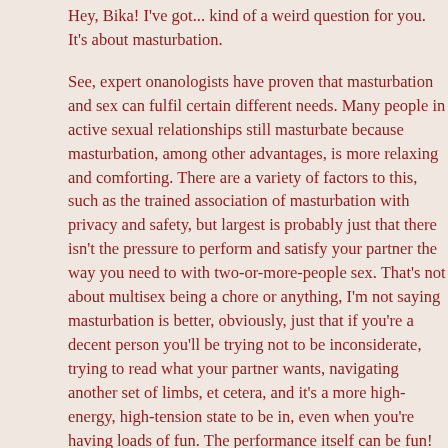Hey, Bika! I've got... kind of a weird question for you. It's about masturbation.
See, expert onanologists have proven that masturbation and sex can fulfil certain different needs. Many people in active sexual relationships still masturbate because masturbation, among other advantages, is more relaxing and comforting. There are a variety of factors to this, such as the trained association of masturbation with privacy and safety, but largest is probably just that there isn't the pressure to perform and satisfy your partner the way you need to with two-or-more-people sex. That's not about multisex being a chore or anything, I'm not saying masturbation is better, obviously, just that if you're a decent person you'll be trying not to be inconsiderate, trying to read what your partner wants, navigating another set of limbs, et cetera, and it's a more high-energy, high-tension state to be in, even when you're having loads of fun. The performance itself can be fun! But it's more tiring, and sometimes you just need to get off without having to bug someone else to help you.
I was lying about there being expert onanologists. They're probably called something different.
What I want to ask is... is sex between your bodies just like